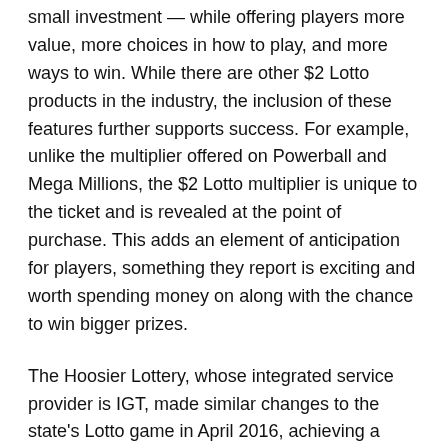small investment — while offering players more value, more choices in how to play, and more ways to win. While there are other $2 Lotto products in the industry, the inclusion of these features further supports success. For example, unlike the multiplier offered on Powerball and Mega Millions, the $2 Lotto multiplier is unique to the ticket and is revealed at the point of purchase. This adds an element of anticipation for players, something they report is exciting and worth spending money on along with the chance to win bigger prizes.
The Hoosier Lottery, whose integrated service provider is IGT, made similar changes to the state's Lotto game in April 2016, achieving a significant lift in sales. Most recently, IGT worked with the Florida Lottery to apply the same successful strategy. On October 8, 2020, Florida re-launched its Lotto game at a $2 price point with an embedded multiplier between 2X to 10X and the $1 Double Play add-on.